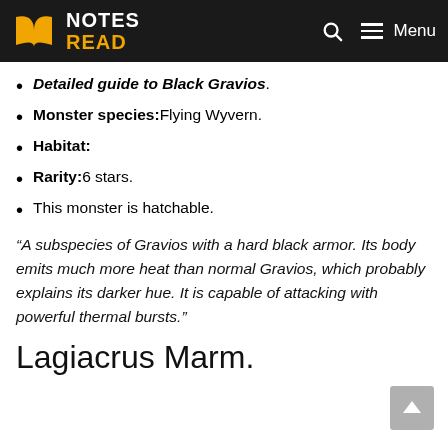NOTES READ — Menu
Detailed guide to Black Gravios.
Monster species: Flying Wyvern.
Habitat:
Rarity: 6 stars.
This monster is hatchable.
“A subspecies of Gravios with a hard black armor. Its body emits much more heat than normal Gravios, which probably explains its darker hue. It is capable of attacking with powerful thermal bursts.”
Lagiacrus Marm.